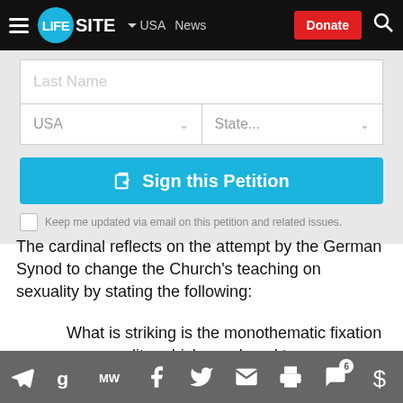LifeSite — USA News — Donate
[Figure (screenshot): Web form with Last Name field, USA/State dropdowns, Sign this Petition button, and email update checkbox]
The cardinal reflects on the attempt by the German Synod to change the Church's teaching on sexuality by stating the following:
What is striking is the monothematic fixation on sexuality, which – reduced to mere satisfaction
Social sharing bar: Telegram, GettrMW, Facebook, Twitter, Email, Print, Comments (6), Donate